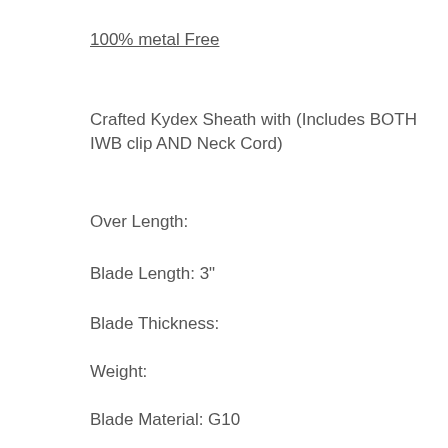100% metal Free
Crafted Kydex Sheath with (Includes BOTH IWB clip AND Neck Cord)
Over Length:
Blade Length: 3"
Blade Thickness:
Weight:
Blade Material: G10
Handle:  Cord Wrapped
Sharpness:  Pointed (no edge)